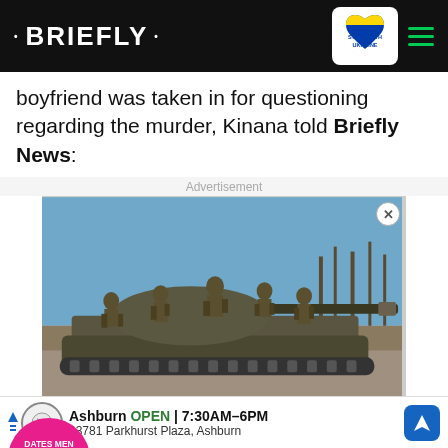BRIEFLY - Stand with Ukraine
boyfriend was taken in for questioning regarding the murder, Kinana told Briefly News:
Advertisement
[Figure (photo): Soldiers in military gear standing on a tank in a field setting]
[Figure (photo): Advertisement overlay: woman and young man, pink circle text 'DATES MEN WHO COULD BE HER CHILDREN', Ukrainian Army text]
[Figure (photo): Bottom ad: Ashburn OPEN 7:30AM-6PM, 43781 Parkhurst Plaza, Ashburn, auto dealership ad with navigation icon]